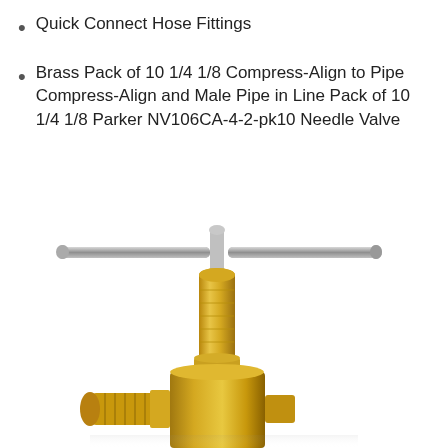Quick Connect Hose Fittings
Brass Pack of 10 1/4 1/8 Compress-Align to Pipe Compress-Align and Male Pipe in Line Pack of 10 1/4 1/8 Parker NV106CA-4-2-pk10 Needle Valve
[Figure (photo): A brass needle valve (Parker NV106CA-4-2-pk10) with a T-bar handle made of silver metal rod. The valve body is gold-colored brass with a cylindrical stem and threaded male pipe fitting at the bottom left. The T-handle is horizontal across the top of the stem.]